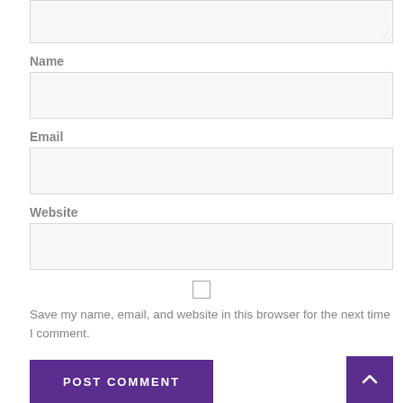[Figure (screenshot): Textarea input field (comment box) partially visible at top of page with resize handle]
Name
[Figure (screenshot): Name input field, light gray background with border]
Email
[Figure (screenshot): Email input field, light gray background with border]
Website
[Figure (screenshot): Website input field, light gray background with border]
[Figure (screenshot): Checkbox (unchecked)]
Save my name, email, and website in this browser for the next time I comment.
[Figure (screenshot): POST COMMENT button in purple]
[Figure (screenshot): Back to top button (purple, with upward chevron)]